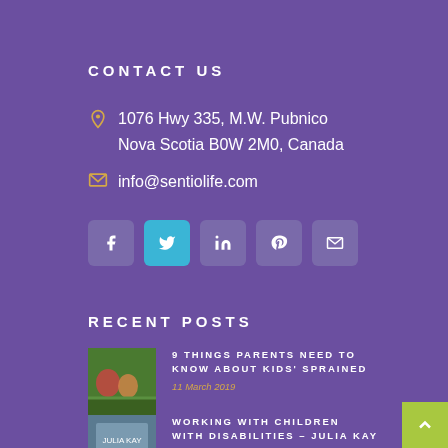CONTACT US
1076 Hwy 335, M.W. Pubnico Nova Scotia B0W 2M0, Canada
info@sentiolife.com
[Figure (infographic): Social media icons: Facebook, Twitter, LinkedIn, Pinterest, Email]
RECENT POSTS
[Figure (photo): Children playing on a green sports field]
9 THINGS PARENTS NEED TO KNOW ABOUT KIDS' SPRAINED
11 March 2019
[Figure (photo): Book or document cover with child-related theme]
WORKING WITH CHILDREN WITH DISABILITIES – JULIA KAY